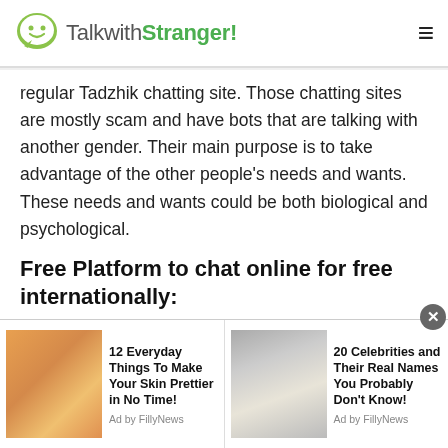TalkwithStranger!
regular Tadzhik chatting site. Those chatting sites are mostly scam and have bots that are talking with another gender. Their main purpose is to take advantage of the other people's needs and wants. These needs and wants could be both biological and psychological.
Free Platform to chat online for free internationally:
Talkwithstranger is the only online free platform that enables the individuals to talk with people
[Figure (screenshot): Two advertisement banners at bottom: '12 Everyday Things To Make Your Skin Prettier in No Time! Ad by FillyNews' and '20 Celebrities and Their Real Names You Probably Don't Know! Ad by FillyNews']